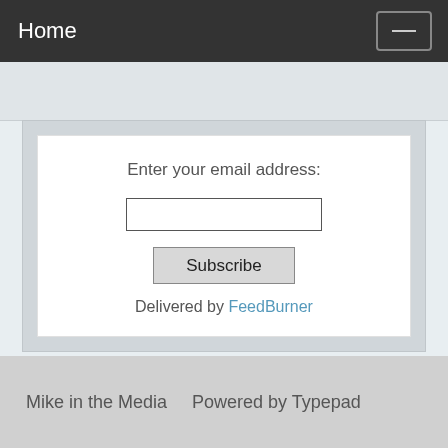Home
Enter your email address:
Subscribe
Delivered by FeedBurner
Mike in the Media   Powered by Typepad